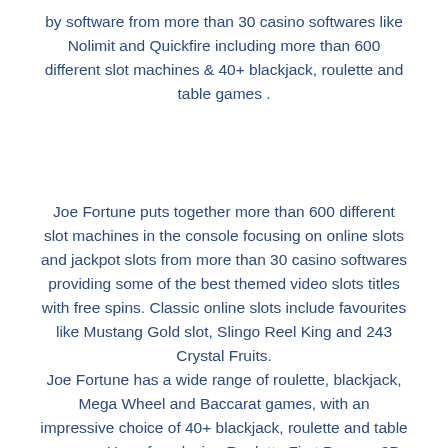by software from more than 30 casino softwares like Nolimit and Quickfire including more than 600 different slot machines & 40+ blackjack, roulette and table games .
Joe Fortune puts together more than 600 different slot machines in the console focusing on online slots and jackpot slots from more than 30 casino softwares providing some of the best themed video slots titles with free spins. Classic online slots include favourites like Mustang Gold slot, Slingo Reel King and 243 Crystal Fruits.
Joe Fortune has a wide range of roulette, blackjack, Mega Wheel and Baccarat games, with an impressive choice of 40+ blackjack, roulette and table games . Have fun playing Roulette First Person, 3D Blackjack and Mini Baccarat and other tiles like Atlantic City